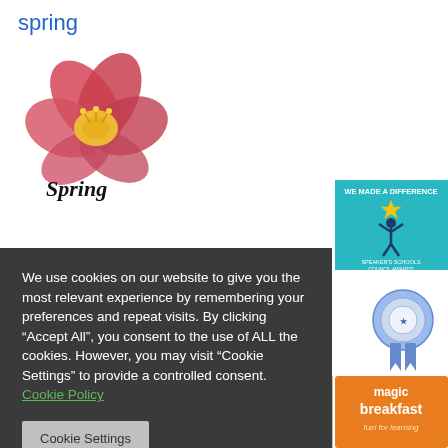spring
[Figure (illustration): Spring flower (columbine/aquilegia) in pink and yellow with cursive 'Spring' text below]
We use cookies on our website to give you the most relevant experience by remembering your preferences and repeat visits. By clicking “Accept All”, you consent to the use of ALL the cookies. However, you may visit “Cookie Settings” to provide a controlled consent. Cookie Policy
[Figure (screenshot): Cookie Settings button (grey)]
[Figure (screenshot): Accept All button (green) and Reject All button (grey)]
[Figure (logo): We Made A Difference - Speaker's Schools Council Awards badge (teal background with figure holding star)]
[Figure (logo): Blue and white ribbon/rosette award badge]
[Figure (logo): Magic Breakfast - fuel for learning logo (orange background)]
IN PEOPLE   Silver